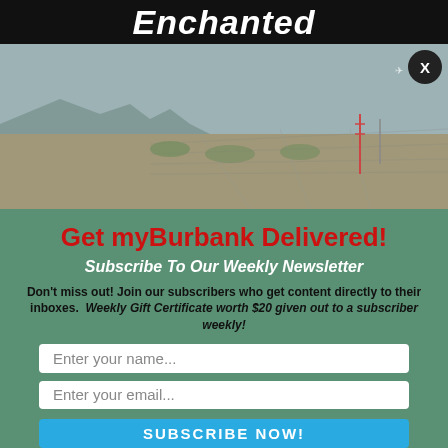Enchanted
[Figure (photo): Aerial photograph of Burbank, California showing urban sprawl with mountains on the left, residential neighborhoods, and communication towers]
Get myBurbank Delivered!
Subscribe To Our Weekly Newsletter
Don't miss out! Join our subscribers who get content directly to their inboxes. Weekly Gift Certificate worth $20 given out to a subscriber weekly!
Enter your name...
Enter your email...
SUBSCRIBE NOW!